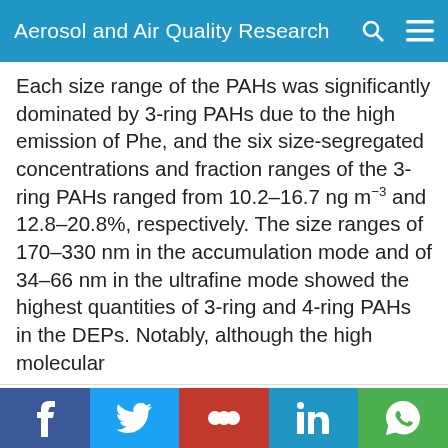Aerosol and Air Quality Research
Each size range of the PAHs was significantly dominated by 3-ring PAHs due to the high emission of Phe, and the six size-segregated concentrations and fraction ranges of the 3-ring PAHs ranged from 10.2–16.7 ng m−3 and 12.8–20.8%, respectively. The size ranges of 170–330 nm in the accumulation mode and of 34–66 nm in the ultrafine mode showed the highest quantities of 3-ring and 4-ring PAHs in the DEPs. Notably, although the high molecular
Aerosol and Air Quality Research (AAQR) is an independently-run non-profit journal that promotes submissions of high-quality research and strives to be one of the leading aerosol and air quality open-access journals in the world. We use cookies on this website to personalize content to improve your user experience and analyze our traffic. By using this site you agree to its use of cookies.
Ok